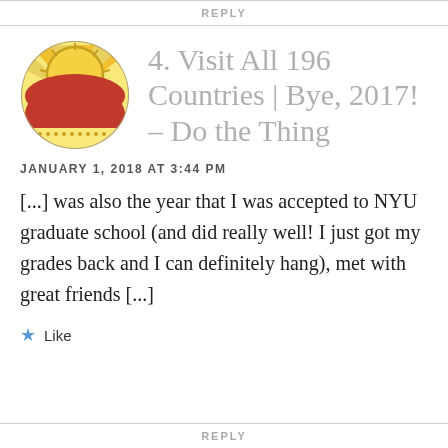REPLY
4. Visit All 196 Countries | Bye, 2017! – Do the Thing
JANUARY 1, 2018 AT 3:44 PM
[...] was also the year that I was accepted to NYU graduate school (and did really well! I just got my grades back and I can definitely hang), met with great friends [...]
Like
REPLY